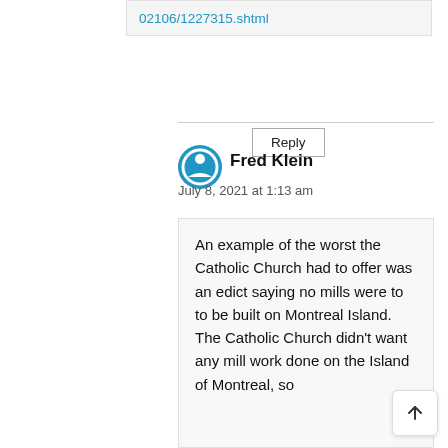02106/1227315.shtml
Reply
Fred Klein
July 8, 2021 at 1:13 am
An example of the worst the Catholic Church had to offer was an edict saying no mills were to to be built on Montreal Island. The Catholic Church didn't want any mill work done on the Island of Montreal, so